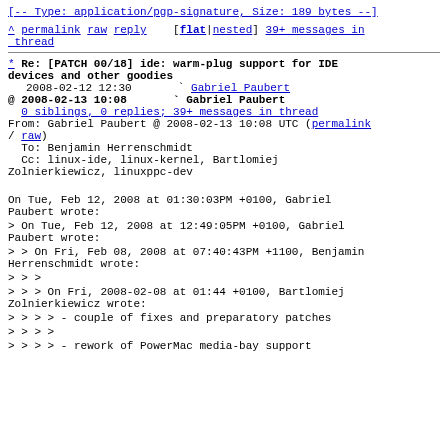[-- Type: application/pgp-signature, Size: 189 bytes --]
^ permalink  raw  reply    [flat|nested]  39+ messages in thread
* Re: [PATCH 00/18] ide: warm-plug support for IDE devices and other goodies
  2008-02-12 12:30       ` Gabriel Paubert
@ 2008-02-13 10:08       ` Gabriel Paubert
  0 siblings, 0 replies; 39+ messages in thread
From: Gabriel Paubert @ 2008-02-13 10:08 UTC (permalink / raw)
  To: Benjamin Herrenschmidt
  Cc: linux-ide, linux-kernel, Bartlomiej Zolnierkiewicz, linuxppc-dev
On Tue, Feb 12, 2008 at 01:30:03PM +0100, Gabriel Paubert wrote:
> On Tue, Feb 12, 2008 at 12:49:05PM +0100, Gabriel Paubert wrote:
> > On Fri, Feb 08, 2008 at 07:40:43PM +1100, Benjamin Herrenschmidt wrote:
> > >
> > > On Fri, 2008-02-08 at 01:44 +0100, Bartlomiej Zolnierkiewicz wrote:
> > > > - couple of fixes and preparatory patches
> > > >
> > > > - rework of PowerMac media-bay support